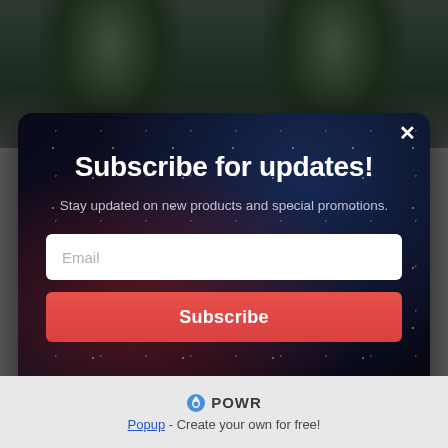[Figure (screenshot): Background showing two side-by-side dark images of a hooded figure in a dark green jacket]
[Figure (screenshot): Modal popup with dark space/galaxy background. Contains subscribe form with title, subtitle, email input, and subscribe button.]
Subscribe for updates!
Stay updated on new products and special promotions.
Email
Subscribe
×
POWR
Popup - Create your own for free!